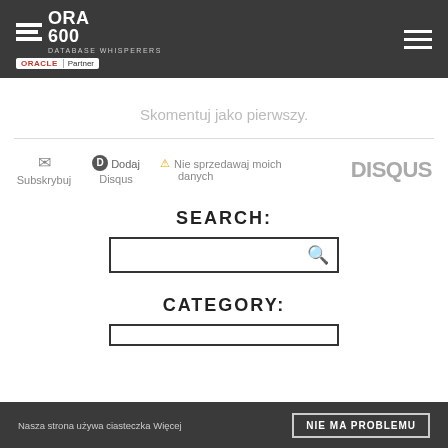[Figure (logo): ORA 600 Database Whisperers logo with Oracle Partner badge on dark grey header background]
Skomentuj jako pierwszy.
Subskrybuj  Dodaj Disqus  Nie sprzedawaj moich danych  DISQUS
SEARCH:
[Figure (screenshot): Search input box with magnifying glass icon]
CATEGORY:
[Figure (screenshot): Category dropdown box]
Nasza strona używa ciasteczka Więcej
NIE MA PROBLEMU